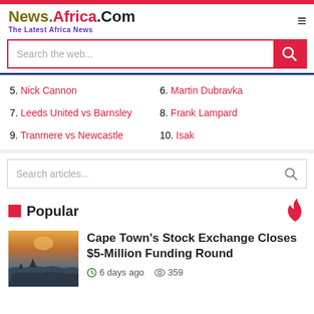News.Africa.Com - The Latest Africa News
5. Nick Cannon
6. Martin Dubravka
7. Leeds United vs Barnsley
8. Frank Lampard
9. Tranmere vs Newcastle
10. Isak
Popular
Cape Town's Stock Exchange Closes $5-Million Funding Round
6 days ago   359